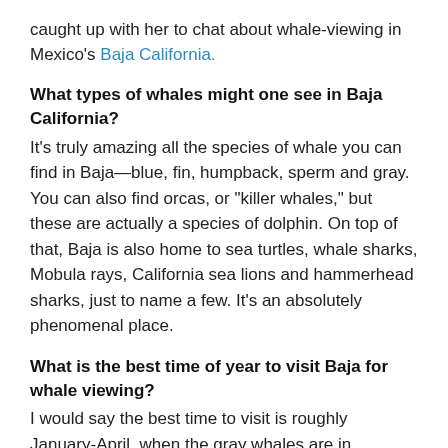caught up with her to chat about whale-viewing in Mexico's Baja California.
What types of whales might one see in Baja California?
It's truly amazing all the species of whale you can find in Baja—blue, fin, humpback, sperm and gray. You can also find orcas, or "killer whales," but these are actually a species of dolphin. On top of that, Baja is also home to sea turtles, whale sharks, Mobula rays, California sea lions and hammerhead sharks, just to name a few. It's an absolutely phenomenal place.
What is the best time of year to visit Baja for whale viewing?
I would say the best time to visit is roughly January-April, when the gray whales are in residence and you can see the mothers and calves before they start their long journey north to their summer feeding grounds in Alaska.